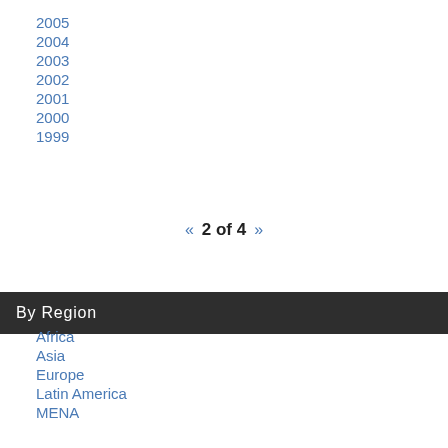2005
2004
2003
2002
2001
2000
1999
« 2 of 4 »
By Region
Africa
Asia
Europe
Latin America
MENA